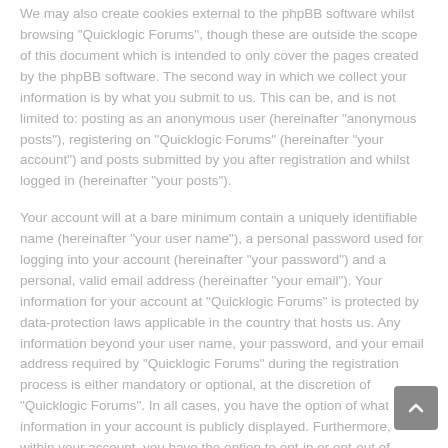We may also create cookies external to the phpBB software whilst browsing "Quicklogic Forums", though these are outside the scope of this document which is intended to only cover the pages created by the phpBB software. The second way in which we collect your information is by what you submit to us. This can be, and is not limited to: posting as an anonymous user (hereinafter "anonymous posts"), registering on "Quicklogic Forums" (hereinafter "your account") and posts submitted by you after registration and whilst logged in (hereinafter "your posts").
Your account will at a bare minimum contain a uniquely identifiable name (hereinafter "your user name"), a personal password used for logging into your account (hereinafter "your password") and a personal, valid email address (hereinafter "your email"). Your information for your account at "Quicklogic Forums" is protected by data-protection laws applicable in the country that hosts us. Any information beyond your user name, your password, and your email address required by "Quicklogic Forums" during the registration process is either mandatory or optional, at the discretion of "Quicklogic Forums". In all cases, you have the option of what information in your account is publicly displayed. Furthermore, within your account, you have the option to opt-in or opt-out of automatically generated emails from the